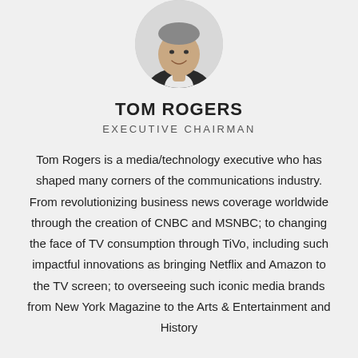[Figure (photo): Circular headshot portrait of Tom Rogers, a man in a dark suit smiling, cropped to show head and upper shoulders]
TOM ROGERS
EXECUTIVE CHAIRMAN
Tom Rogers is a media/technology executive who has shaped many corners of the communications industry. From revolutionizing business news coverage worldwide through the creation of CNBC and MSNBC; to changing the face of TV consumption through TiVo, including such impactful innovations as bringing Netflix and Amazon to the TV screen; to overseeing such iconic media brands from New York Magazine to the Arts & Entertainment and History